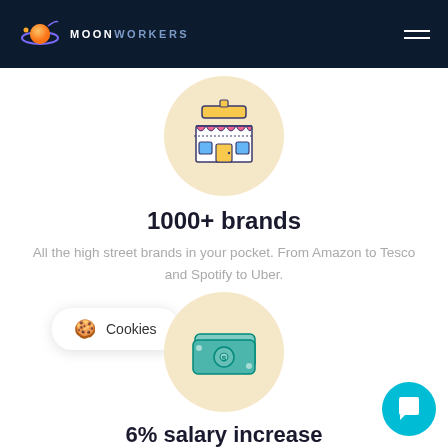MOONWORKERS
[Figure (illustration): Store/shop icon inside a beige circle — a colorful illustrated shop front with awning and door]
1000+ brands
All the high street brands in your pocket. From Amazon to Tesco and Spotify to Uber.
[Figure (illustration): Cookies pill badge with cookie emoji icon]
[Figure (illustration): Money/cash bills icon inside a beige circle — illustrated green banknotes]
6% salary increase